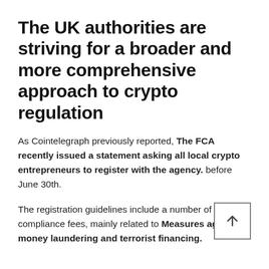The UK authorities are striving for a broader and more comprehensive approach to crypto regulation
As Cointelegraph previously reported, The FCA recently issued a statement asking all local crypto entrepreneurs to register with the agency. before June 30th.
The registration guidelines include a number of specific compliance fees, mainly related to Measures against money laundering and terrorist financing.